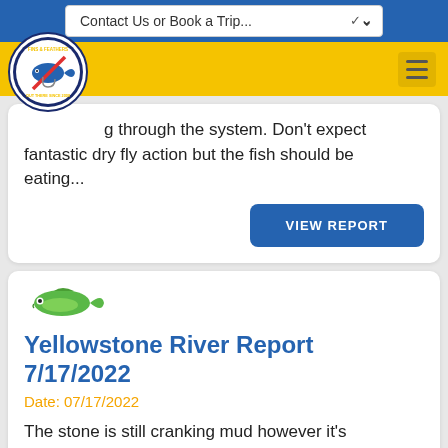Contact Us or Book a Trip...
g through the system. Don't expect fantastic dry fly action but the fish should be eating...
VIEW REPORT
[Figure (logo): Green fish icon]
Yellowstone River Report 7/17/2022
Date: 07/17/2022
The stone is still cranking mud however it's